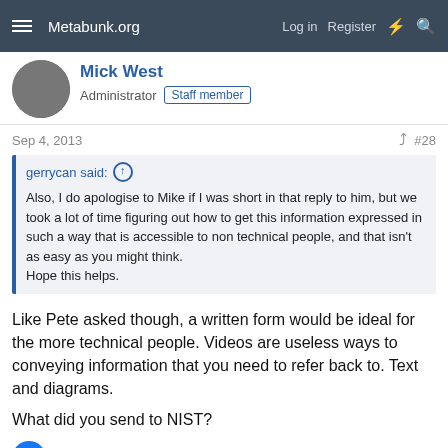Metabunk.org  Log in  Register
Mick West
Administrator  Staff member
Sep 4, 2013  #28
gerrycan said:
Also, I do apologise to Mike if I was short in that reply to him, but we took a lot of time figuring out how to get this information expressed in such a way that is accessible to non technical people, and that isn't as easy as you might think.
Hope this helps.
Like Pete asked though, a written form would be ideal for the more technical people. Videos are useless ways to conveying information that you need to refer back to. Text and diagrams.
What did you send to NIST?